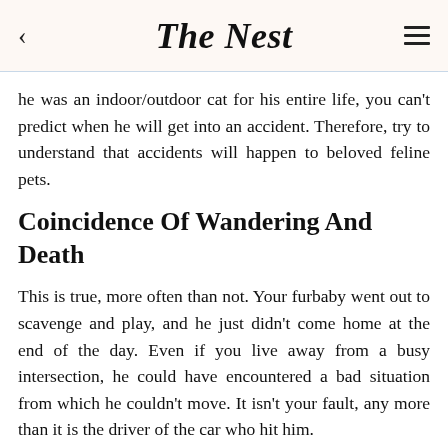The Nest
he was an indoor/outdoor cat for his entire life, you can't predict when he will get into an accident. Therefore, try to understand that accidents will happen to beloved feline pets.
Coincidence Of Wandering And Death
This is true, more often than not. Your furbaby went out to scavenge and play, and he just didn't come home at the end of the day. Even if you live away from a busy intersection, he could have encountered a bad situation from which he couldn't move. It isn't your fault, any more than it is the driver of the car who hit him.